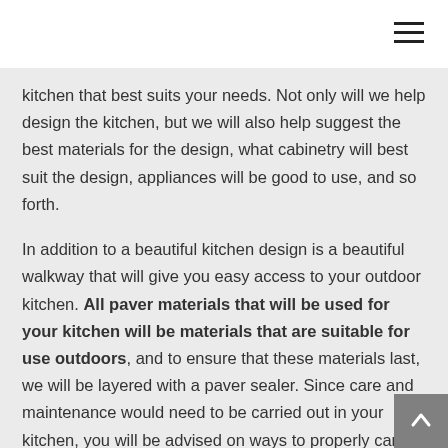☰
kitchen that best suits your needs. Not only will we help design the kitchen, but we will also help suggest the best materials for the design, what cabinetry will best suit the design, appliances will be good to use, and so forth.
In addition to a beautiful kitchen design is a beautiful walkway that will give you easy access to your outdoor kitchen. All paver materials that will be used for your kitchen will be materials that are suitable for use outdoors, and to ensure that these materials last, we will be layered with a paver sealer. Since care and maintenance would need to be carried out in your kitchen, you will be advised on ways to properly care for and maintain your pavers so that we serve you for a long time.
We also offer paving services in here and here, both in